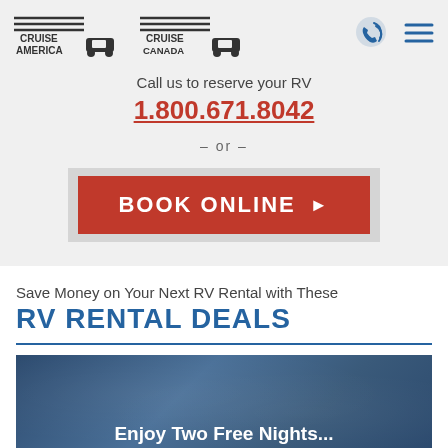[Figure (logo): Cruise America logo with RV icon and horizontal lines]
[Figure (logo): Cruise Canada logo with RV icon and horizontal lines]
[Figure (illustration): Phone/call icon in blue]
[Figure (illustration): Hamburger menu icon in blue]
Call us to reserve your RV
1.800.671.8042
– or –
BOOK ONLINE ▶
Save Money on Your Next RV Rental with These
RV RENTAL DEALS
[Figure (photo): Dark blue/teal background image with partially visible text 'Enjoy Two Free Nights...']
Enjoy Two Free Nights...